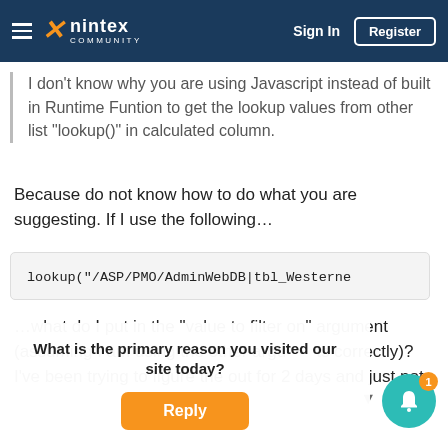nintex Community — Sign In | Register
I don't know why you are using Javascript instead of built in Runtime Funtion to get the lookup values from other list "lookup()" in calculated column.
Because do not know how to do what you are suggesting. If I use the following…
lookup("/ASP/PMO/AdminWebDB|tbl_Westerne
…what do I put in the "value to filter on" argument (assuming I am using the other argu      ts correctly)? I've been trying to figure the out for 2 days and just not
What is the primary reason you visited our site today?
Reply